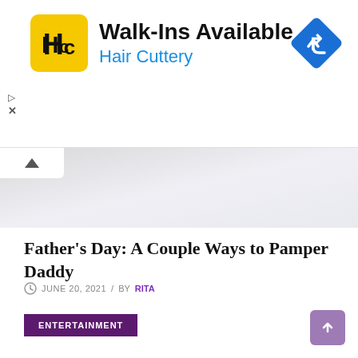[Figure (other): Hair Cuttery advertisement banner with logo (HC in yellow square), text 'Walk-Ins Available' and 'Hair Cuttery' in blue, and a blue diamond navigation icon on the right]
[Figure (photo): Partial hero image showing a light-colored background, likely a lifestyle/spa photo, with a collapse chevron button in the upper left]
Father's Day: A Couple Ways to Pamper Daddy
JUNE 20, 2021 / BY RITA
ENTERTAINMENT